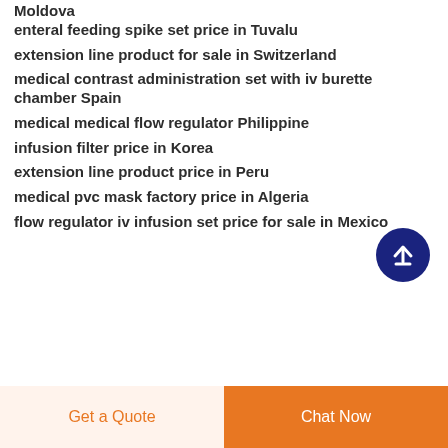Moldova
enteral feeding spike set price in Tuvalu
extension line product for sale in Switzerland
medical contrast administration set with iv burette chamber Spain
medical medical flow regulator Philippine
infusion filter price in Korea
extension line product price in Peru
medical pvc mask factory price in Algeria
flow regulator iv infusion set price for sale in Mexico